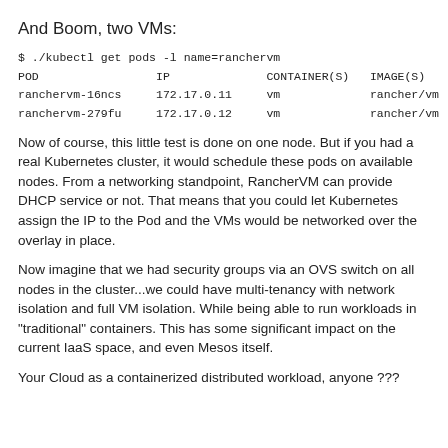And Boom, two VMs:
$ ./kubectl get pods -l name=ranchervm
POD                 IP              CONTAINER(S)   IMAGE(S)
ranchervm-16ncs     172.17.0.11     vm             rancher/vm
ranchervm-279fu     172.17.0.12     vm             rancher/vm
Now of course, this little test is done on one node. But if you had a real Kubernetes cluster, it would schedule these pods on available nodes. From a networking standpoint, RancherVM can provide DHCP service or not. That means that you could let Kubernetes assign the IP to the Pod and the VMs would be networked over the overlay in place.
Now imagine that we had security groups via an OVS switch on all nodes in the cluster...we could have multi-tenancy with network isolation and full VM isolation. While being able to run workloads in "traditional" containers. This has some significant impact on the current IaaS space, and even Mesos itself.
Your Cloud as a containerized distributed workload, anyone ???